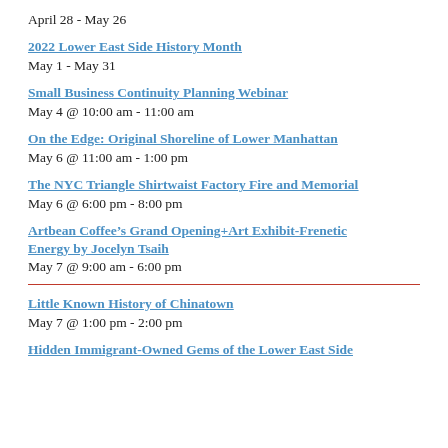April 28 - May 26
2022 Lower East Side History Month
May 1 - May 31
Small Business Continuity Planning Webinar
May 4 @ 10:00 am - 11:00 am
On the Edge: Original Shoreline of Lower Manhattan
May 6 @ 11:00 am - 1:00 pm
The NYC Triangle Shirtwaist Factory Fire and Memorial
May 6 @ 6:00 pm - 8:00 pm
Artbean Coffee’s Grand Opening+Art Exhibit-Frenetic Energy by Jocelyn Tsaih
May 7 @ 9:00 am - 6:00 pm
Little Known History of Chinatown
May 7 @ 1:00 pm - 2:00 pm
Hidden Immigrant-Owned Gems of the Lower East Side